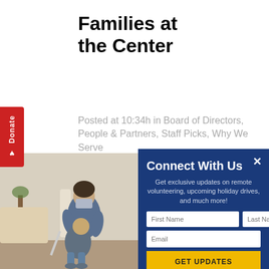Families at the Center
Posted at 10:34h in Board of Directors, People & Partners, Staff Picks, Why We Serve
[Figure (photo): A woman wearing a face mask holding a young child on her lap while seated in a chair indoors.]
Connect With Us
Get exclusive updates on remote volunteering, upcoming holiday drives, and much more!